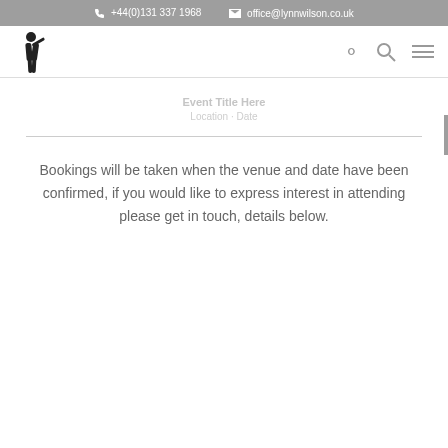+44(0)131 337 1968  office@lynnwilson.co.uk
[Figure (logo): Lynn Wilson logo - silhouette of a person presenting]
Bookings will be taken when the venue and date have been confirmed, if you would like to express interest in attending please get in touch, details below.